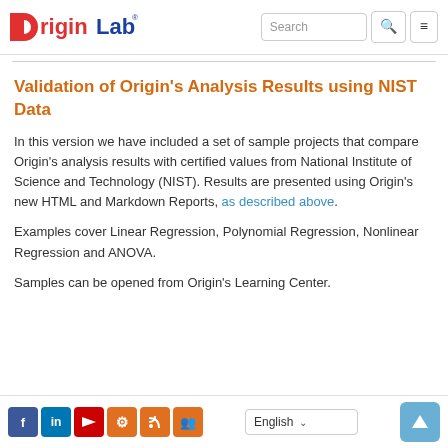[Figure (logo): OriginLab logo with red circle O and blue 'riginLab' text, registered trademark]
Validation of Origin's Analysis Results using NIST Data
In this version we have included a set of sample projects that compare Origin's analysis results with certified values from National Institute of Science and Technology (NIST). Results are presented using Origin's new HTML and Markdown Reports, as described above.
Examples cover Linear Regression, Polynomial Regression, Nonlinear Regression and ANOVA.
Samples can be opened from Origin's Learning Center.
Social icons: Facebook, LinkedIn, YouTube, Settings, RSS, Group | Language selector: English | Scroll to top button